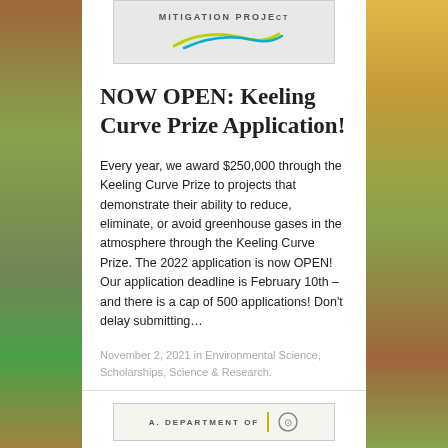[Figure (logo): Mitigation Project logo with arc/swoosh graphic on grey background]
NOW OPEN: Keeling Curve Prize Application!
Every year, we award $250,000 through the Keeling Curve Prize to projects that demonstrate their ability to reduce, eliminate, or avoid greenhouse gases in the atmosphere through the Keeling Curve Prize. The 2022 application is now OPEN! Our application deadline is February 10th – and there is a cap of 500 applications! Don't delay submitting…
November 2, 2021 in Environmental Science, Scholarships, Science & Research.
[Figure (logo): Department logo partially visible at bottom with yellow vertical line divider]